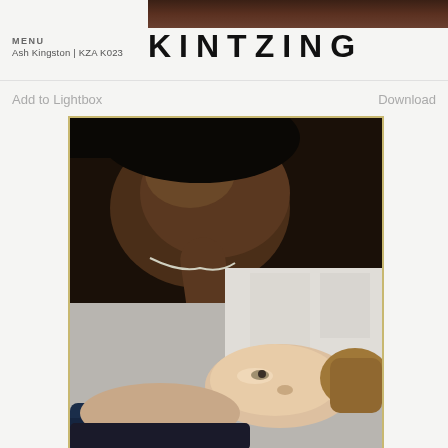[Figure (photo): Partial cropped photo at top of page, dark toned image]
MENU
Ash Kingston | KZA K023
KINTZING
Add to Lightbox
Download
[Figure (photo): Two women, one Black woman leaning over a white woman who is lying down, intimate close interaction, taken in a room with artwork on the wall]